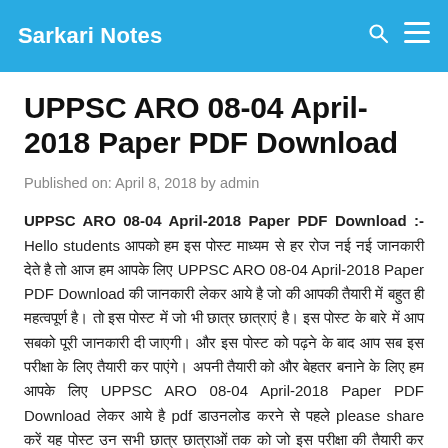Sarkari Notes
UPPSC ARO 08-04 April-2018 Paper PDF Download
Published on: April 8, 2018 by admin
UPPSC ARO 08-04 April-2018 Paper PDF Download :- Hello students आपको हम इस पोस्ट माध्यम से हर रोज नई नई जानकारी देते है तो आज हम आपके लिए UPPSC ARO 08-04 April-2018 Paper PDF Download की जानकारी लेकर आये है जो की आपकी तैयारी में बहुत ही महत्वपूर्ण है। तो इस पोस्ट में जो भी छात्र छात्राएं है। इस पोस्ट के बारे में आप सबको पूरी जानकारी दी जाएगी। और इस पोस्ट को पढ़ने के बाद आप सब इस परीक्षा के लिए तैयारी कर पाएंगे। अपनी तैयारी को और बेहतर बनाने के लिए हम आपके लिए UPPSC ARO 08-04 April-2018 Paper PDF Download लेकर आये है pdf डाउनलोड करने से पहले please share करें यह पोस्ट उन सभी छात्र छात्राओं तक को जो इस परीक्षा की तैयारी कर रहे है। ताकि